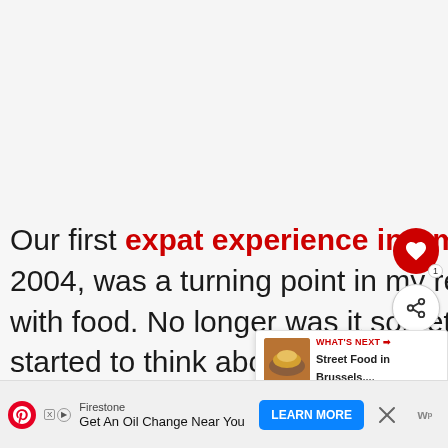[Figure (other): Blank light gray area at top of page, representing space above article content (likely an image placeholder or advertisement area)]
Our first expat experience in Amsterdam, back in 2004, was a turning point in my relationship with food. No longer was it something I ate mindlessly. I started to think about where ingredients come from, and why the foods I saw...
[Figure (screenshot): UI overlay with heart/save button (red circle with heart icon, badge showing '1'), share button (circle with share icon), a 'What's Next' recommendation card showing 'Street Food in Brussels,...' with a food thumbnail image]
[Figure (other): Advertisement banner at bottom: Pinterest icon, Firestone brand ad 'Get An Oil Change Near You', blue LEARN MORE button, X close button, and ad badges]